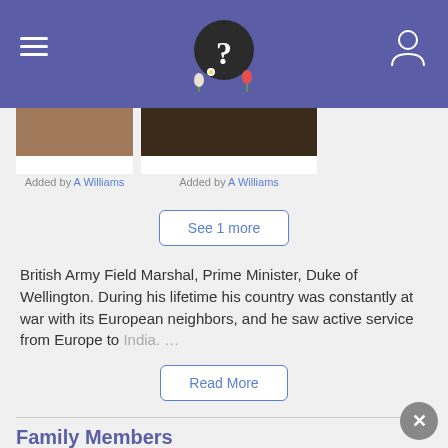Header navigation bar with logo, hamburger menu, and person icon
Added by A Williams
Added by A Williams
See 1 more
British Army Field Marshal, Prime Minister, Duke of Wellington. During his lifetime his country was constantly at war with its European neighbors, and he saw active service from Europe to India. …
Read More
Family Members
Parents
Garret Wesley
1735 - 1781